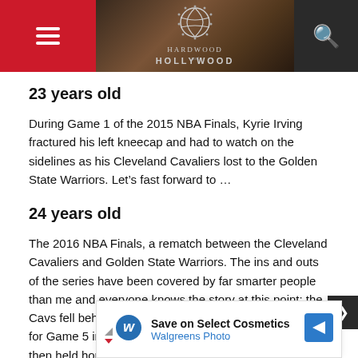Hardwood and Hollywood
23 years old
During Game 1 of the 2015 NBA Finals, Kyrie Irving fractured his left kneecap and had to watch on the sidelines as his Cleveland Cavaliers lost to the Golden State Warriors. Let’s fast forward to …
24 years old
The 2016 NBA Finals, a rematch between the Cleveland Cavaliers and Golden State Warriors. The ins and outs of the series have been covered by far smarter people than me and everyone knows the story at this point: the Cavs fell behind 3-1, Draymond Green was suspended for Game 5 in Golden State, Cleveland won on the road, then held home … Game 7, becom… in the …